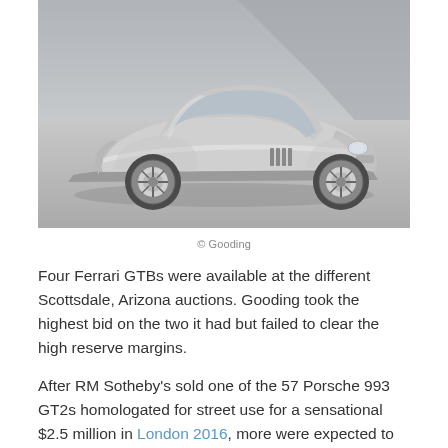[Figure (photo): Silver Ferrari GTB coupe photographed from the side, parked on a tarmac surface in front of a corrugated metal wall background. The car is a classic 1960s-style Ferrari with wire wheels and a sleek fastback body.]
© Gooding
Four Ferrari GTBs were available at the different Scottsdale, Arizona auctions. Gooding took the highest bid on the two it had but failed to clear the high reserve margins.
After RM Sotheby's sold one of the 57 Porsche 993 GT2s homologated for street use for a sensational $2.5 million in London 2016, more were expected to test the market